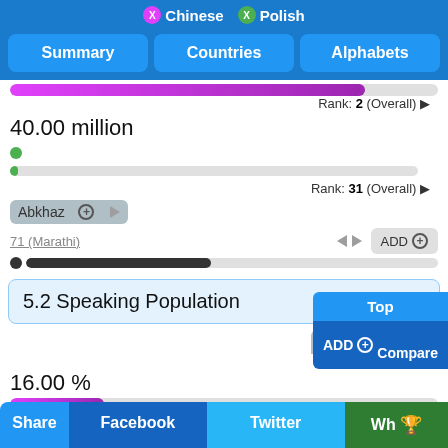X Chinese  X Polish
Summary  Countries  Alphabets
Rank: 2 (Overall)
40.00 million
Rank: 31 (Overall)
Abkhaz
71 (Marathi)  ADD
5.2 Speaking Population
Croatian
16.00 %
Rank: 2 (Overall)
0.61 %
Rank: 25 (Overall)
Xhosa
3.11 (Bengali)  ADD
Share  Facebook  Twitter  Wh...